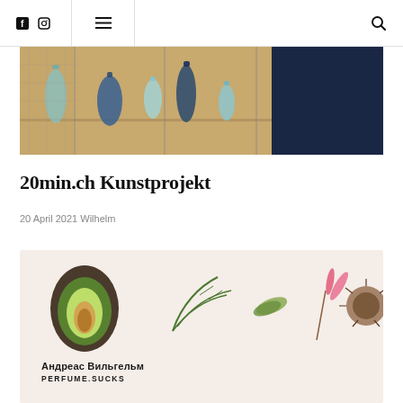Navigation bar with Facebook icon, Instagram icon, hamburger menu, and search icon
[Figure (photo): Photo of blue glass bottles/vases displayed on shelves, with a dark navy blue panel on the right side]
20min.ch Kunstprojekt
20 April 2021 Wilhelm
[Figure (illustration): Botanical illustration on a light pink/beige background featuring an avocado half, green plant stems, a seed pod, a pink flower, and a brown spiky seed head. Text reads: Андреас Вильгельм / PERFUME.SUCKS]